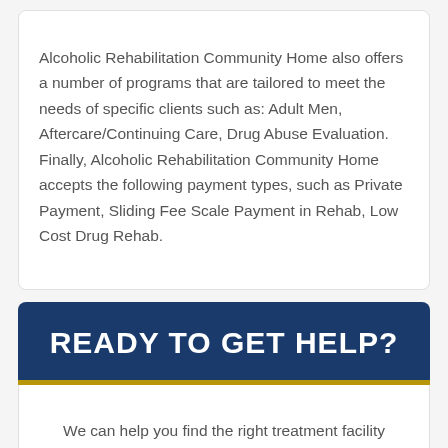Alcoholic Rehabilitation Community Home also offers a number of programs that are tailored to meet the needs of specific clients such as: Adult Men, Aftercare/Continuing Care, Drug Abuse Evaluation. Finally, Alcoholic Rehabilitation Community Home accepts the following payment types, such as Private Payment, Sliding Fee Scale Payment in Rehab, Low Cost Drug Rehab.
READY TO GET HELP?
We can help you find the right treatment facility